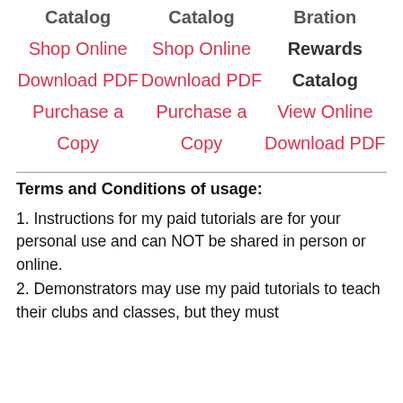Catalog  Catalog  Bration
Shop Online  Shop Online  Rewards
Download PDF  Download PDF  Catalog
Purchase a  Purchase a  View Online
Copy  Copy  Download PDF
Terms and Conditions of usage:
1. Instructions for my paid tutorials are for your personal use and can NOT be shared in person or online.
2. Demonstrators may use my paid tutorials to teach their clubs and classes, but they must